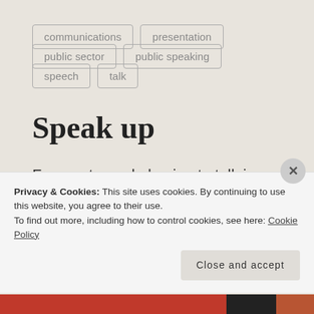communications
presentation
public sector
public speaking
speech
talk
Speak up
For most people having to talk in public is one of the most nerve shredding things they could ever be asked to do.
Privacy & Cookies: This site uses cookies. By continuing to use this website, you agree to their use.
To find out more, including how to control cookies, see here: Cookie Policy
Close and accept